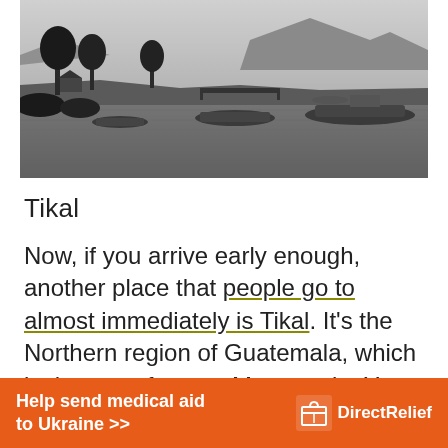[Figure (photo): Black and white photograph of a lakeside scene with boats moored at a dock, trees, and mountains in the background. Lake Atitlán, Guatemala.]
Tikal
Now, if you arrive early enough, another place that people go to almost immediately is Tikal. It's the Northern region of Guatemala, which is the most famous Mayan ruin. You could take a...
[Figure (infographic): Orange advertisement banner: 'Help send medical aid to Ukraine >>' with Direct Relief logo on the right.]